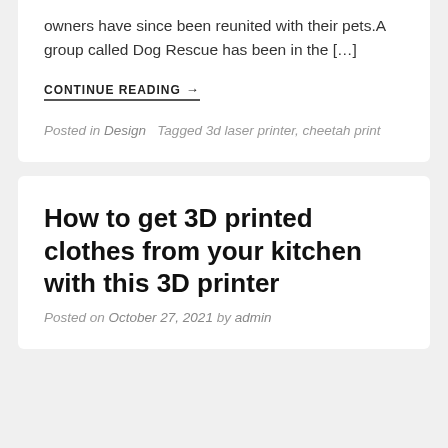owners have since been reunited with their pets.A group called Dog Rescue has been in the […]
CONTINUE READING →
Posted in Design   Tagged 3d laser printer, cheetah print
How to get 3D printed clothes from your kitchen with this 3D printer
Posted on October 27, 2021 by admin